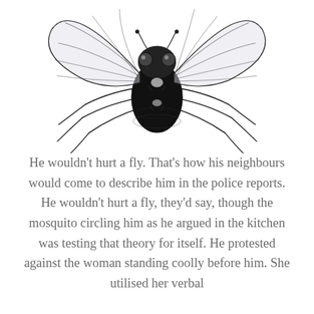[Figure (illustration): Black and white detailed engraving-style illustration of a fly (blowfly/housefly) viewed from above, showing large wings spread to either side, hairy body with iridescent patches, and six legs. The fly is cropped at the top of the page.]
He wouldn't hurt a fly. That's how his neighbours would come to describe him in the police reports. He wouldn't hurt a fly, they'd say, though the mosquito circling him as he argued in the kitchen was testing that theory for itself. He protested against the woman standing coolly before him. She utilised her verbal